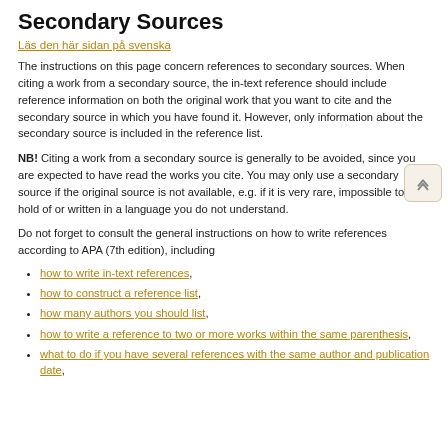Secondary Sources
Läs den här sidan på svenska
The instructions on this page concern references to secondary sources. When citing a work from a secondary source, the in-text reference should include reference information on both the original work that you want to cite and the secondary source in which you have found it. However, only information about the secondary source is included in the reference list.
NB! Citing a work from a secondary source is generally to be avoided, since you are expected to have read the works you cite. You may only use a secondary source if the original source is not available, e.g. if it is very rare, impossible to get hold of or written in a language you do not understand.
Do not forget to consult the general instructions on how to write references according to APA (7th edition), including
how to write in-text references,
how to construct a reference list,
how many authors you should list,
how to write a reference to two or more works within the same parenthesis,
what to do if you have several references with the same author and publication date,